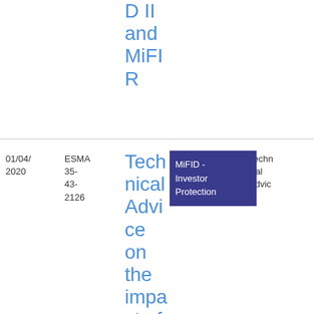D II and MiFIR
| Date | Reference | Title | Tag | Type | Download |
| --- | --- | --- | --- | --- | --- |
| 01/04/2020 | ESMA 35-43-2126 | Technical Advice on the impact of the inducements and costs and char... | MiFID - Investor Protection | Technical Advice | PDF 46 4.68 KB |